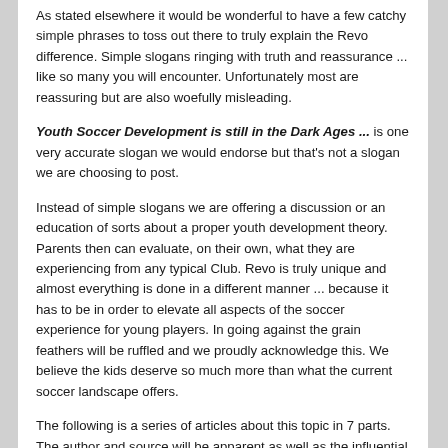As stated elsewhere it would be wonderful to have a few catchy simple phrases to toss out there to truly explain the Revo difference. Simple slogans ringing with truth and reassurance ... like so many you will encounter. Unfortunately most are reassuring but are also woefully misleading.
Youth Soccer Development is still in the Dark Ages ... is one very accurate slogan we would endorse but that's not a slogan we are choosing to post.
Instead of simple slogans we are offering a discussion or an education of sorts about a proper youth development theory. Parents then can evaluate, on their own, what they are experiencing from any typical Club. Revo is truly unique and almost everything is done in a different manner ... because it has to be in order to elevate all aspects of the soccer experience for young players. In going against the grain feathers will be ruffled and we proudly acknowledge this. We believe the kids deserve so much more than what the current soccer landscape offers.
The following is a series of articles about this topic in 7 parts. The author and source will be apparent as well as the influential book that is mentioned. It's probably a book that every parent/coach/trainer should be forced to read but most have not and will not. This summary is a beginning for a lucky few. Proudly this is being shared as it was the